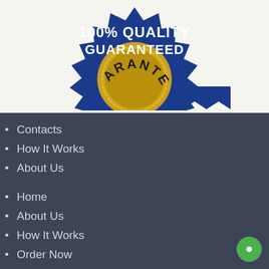[Figure (logo): 100% Quality Guaranteed badge/seal with blue ribbon and gold coin with text ARANTE visible]
Contacts
How It Works
About Us
Home
About Us
How It Works
Order Now
Contacts